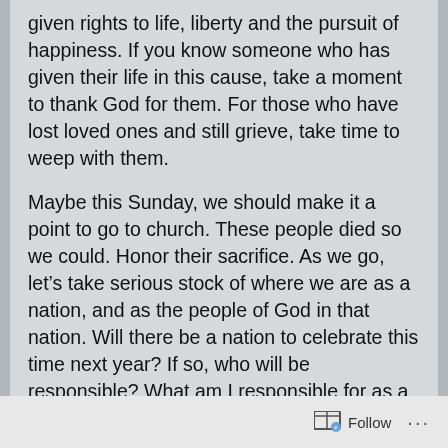given rights to life, liberty and the pursuit of happiness.  If you know someone who has given their life in this cause, take a moment to thank God for them.  For those who have lost loved ones and still grieve, take time to weep with them.

Maybe this Sunday, we should make it a point to go to church.  These people died so we could.  Honor their sacrifice. As we go, let's take serious stock of where we are as a nation, and as the people of God in that nation.  Will there be a nation to celebrate this time next year?  If so, who will be responsible?  What am I responsible for as a child of God? When do I speak up?  When do I bite my tongue?  What am I willing to sacrifice to preserve the heritage of free speech, freedom of religion, and freedom of assembly?  It really is a time for choosing.
Follow ...